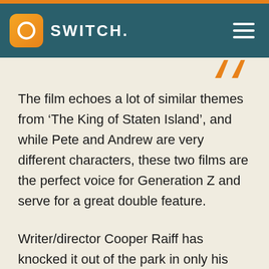SWITCH.
The film echoes a lot of similar themes from ‘The King of Staten Island’, and while Pete and Andrew are very different characters, these two films are the perfect voice for Generation Z and serve for a great double feature.
Writer/director Cooper Raiff has knocked it out of the park in only his second feature, with the whole cast at the top of their game. From the comedy to the heart, ‘Cha Cha Real Smooth’ doesn’t miss a beat.